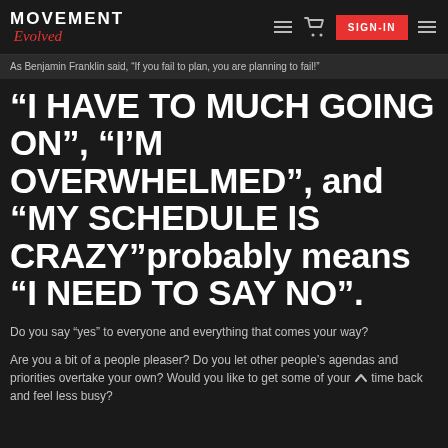MOVEMENT EVOLVED | navigation icons | SIGN-IN
As Benjamin Franklin said, “If you fail to plan, you are planning to fail!”
“I HAVE TO MUCH GOING ON”, “I’M OVERWHELMED”, and “MY SCHEDULE IS CRAZY”probably means “I NEED TO SAY NO”.
Do you say “yes” to everyone and everything that comes your way?
Are you a bit of a people pleaser? Do you let other people’s agendas and priorities overtake your own? Would you like to get some of your time back and feel less busy?